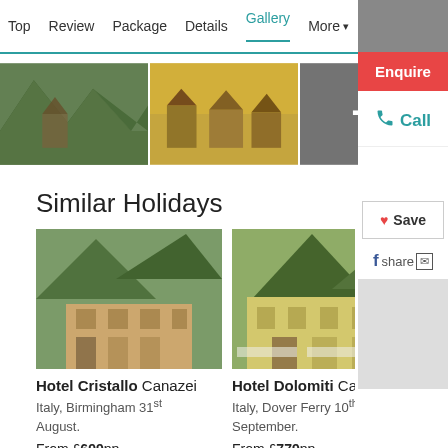Top  Review  Package  Details  Gallery  More ▾
[Figure (photo): Three travel/hotel photos in a gallery row: mountain/forest scene, alpine village aerial view, and a third image with '+5' overlay indicating 5 more photos]
[Figure (screenshot): Right sidebar panel with: grey header area, red Enquire button, teal Call button with phone icon, Save button with heart icon, share row with Facebook icon and envelope icon]
Similar Holidays
[Figure (photo): Hotel Cristallo exterior photo - alpine hotel building with mountains in background, Canazei Italy]
Hotel Cristallo Canazei Italy, Birmingham 31st August.
From £699pp
[Figure (photo): Hotel Dolomiti exterior photo - yellow building with mountains in background, Canazei Italy]
Hotel Dolomiti Canazei Italy, Dover Ferry 10th September.
From £779pp
[Figure (photo): Third hotel partial image (cropped at page edge)]
Ho Ital Se Frc